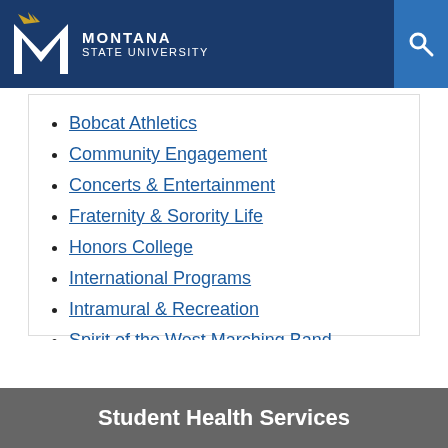Montana State University
Bobcat Athletics
Community Engagement
Concerts & Entertainment
Fraternity & Sorority Life
Honors College
International Programs
Intramural & Recreation
Spirit of the West Marching Band (SOTW)
Undergraduate Scholars Program (USP)
Student Health Services